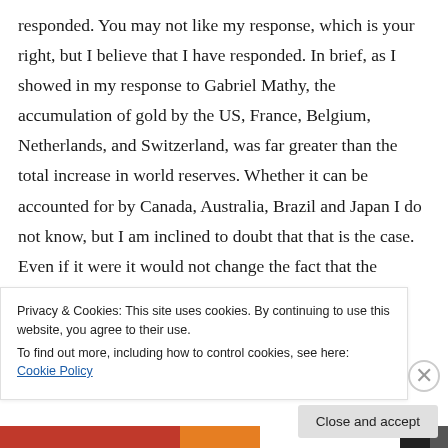responded. You may not like my response, which is your right, but I believe that I have responded. In brief, as I showed in my response to Gabriel Mathy, the accumulation of gold by the US, France, Belgium, Netherlands, and Switzerland, was far greater than the total increase in world reserves. Whether it can be accounted for by Canada, Australia, Brazil and Japan I do not know, but I am inclined to doubt that that is the case. Even if it were it would not change the fact that the increased monetary demand for gold
Privacy & Cookies: This site uses cookies. By continuing to use this website, you agree to their use.
To find out more, including how to control cookies, see here: Cookie Policy